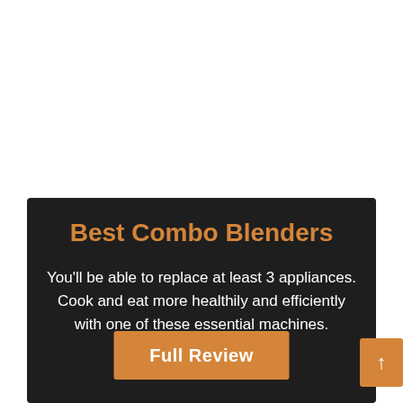[Figure (other): White blank area at top of page with dotted border at top edge]
Best Combo Blenders
You'll be able to replace at least 3 appliances. Cook and eat more healthily and efficiently with one of these essential machines.
Full Review